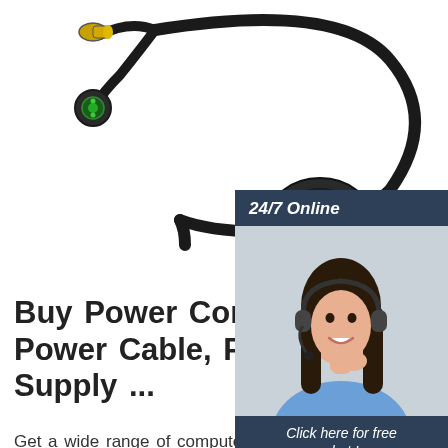[Figure (photo): Product photo of a black cable/power cord assembly with multiple connectors including a yellow connector, a green circular connector, and a large multi-pin connector at the end, on a white background]
[Figure (photo): Chat widget with a customer service representative (woman with headset smiling), '24/7 Online' banner, 'Click here for free chat!' text, and orange QUOTATION button]
Buy Power Cord, Computer Power Cable, PC Power Supply ...
Get a wide range of computer power cords, international, extension, angle, NEMA, etc online from SF Cable. We stock all kinds of power cords like international power cords, IEC320 power cords, NEMA power cords, international power cords, computer power cords, hospital grade power cords, multi-outlet extension power cords, notebook power cords, power cord splitters, etc